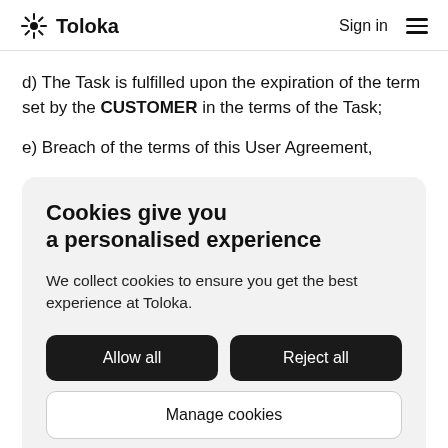Toloka   Sign in
d) The Task is fulfilled upon the expiration of the term set by the CUSTOMER in the terms of the Task;
e) Breach of the terms of this User Agreement,
Cookies give you a personalised experience
We collect cookies to ensure you get the best experience at Toloka.
Allow all   Reject all   Manage cookies
connection with the provision of the Services under this